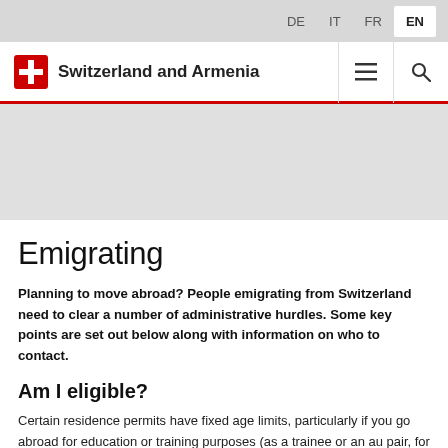Switzerland and Armenia — DE IT FR EN
Emigrating
Planning to move abroad? People emigrating from Switzerland need to clear a number of administrative hurdles. Some key points are set out below along with information on who to contact.
Am I eligible?
Certain residence permits have fixed age limits, particularly if you go abroad for education or training purposes (as a trainee or an au pair, for example) or on an exchange programme (youth exchange, aid/social project, etc.). The official representation responsible for your destination country (from abroad, you can obtain it in Switzerland) can tell...